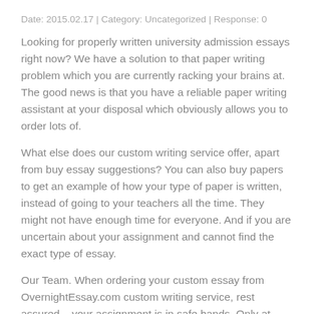Date: 2015.02.17 | Category: Uncategorized | Response: 0
Looking for properly written university admission essays right now? We have a solution to that paper writing problem which you are currently racking your brains at. The good news is that you have a reliable paper writing assistant at your disposal which obviously allows you to order lots of.
What else does our custom writing service offer, apart from buy essay suggestions? You can also buy papers to get an example of how your type of paper is written, instead of going to your teachers all the time. They might not have enough time for everyone. And if you are uncertain about your assignment and cannot find the exact type of essay.
Our Team. When ordering your custom essay from OvernightEssay.com custom writing service, rest assured – your assignment is in safe hands. Only at OvernightEssay.com: Custom Essay Writing Service. Do you want to buy custom essay online because you feel you are stuck on the process of writing? Is writing an essay on a complicated. For those who.